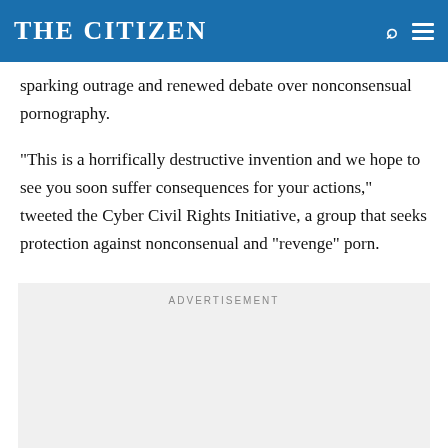THE CITIZEN
sparking outrage and renewed debate over nonconsensual pornography.
"This is a horrifically destructive invention and we hope to see you soon suffer consequences for your actions," tweeted the Cyber Civil Rights Initiative, a group that seeks protection against nonconsenual and "revenge" porn.
ADVERTISEMENT